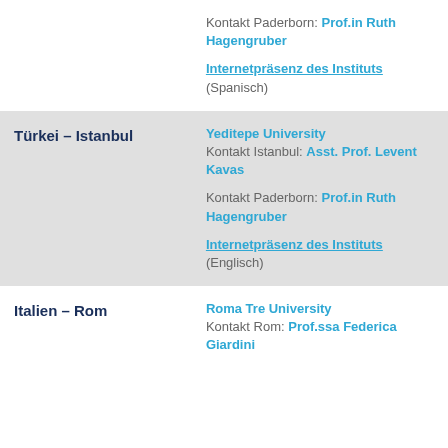| Location | Details |
| --- | --- |
|  | Kontakt Paderborn: Prof.in Ruth Hagengruber

Internetpräsenz des Instituts (Spanisch) |
| Türkei – Istanbul | Yeditepe University

Kontakt Istanbul: Asst. Prof. Levent Kavas

Kontakt Paderborn: Prof.in Ruth Hagengruber

Internetpräsenz des Instituts (Englisch) |
| Italien – Rom | Roma Tre University

Kontakt Rom: Prof.ssa Federica Giardini |